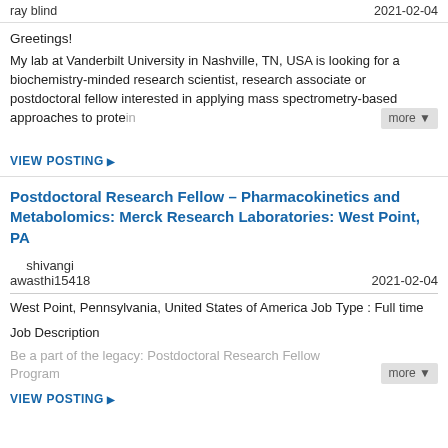ray blind   2021-02-04
Greetings!
My lab at Vanderbilt University in Nashville, TN, USA is looking for a biochemistry-minded research scientist, research associate or postdoctoral fellow interested in applying mass spectrometry-based approaches to protei...
VIEW POSTING
Postdoctoral Research Fellow – Pharmacokinetics and Metabolomics: Merck Research Laboratories: West Point, PA
shivangi awasthi15418   2021-02-04
West Point, Pennsylvania, United States of America Job Type : Full time
Job Description
Be a part of the legacy: Postdoctoral Research Fellow Program
VIEW POSTING